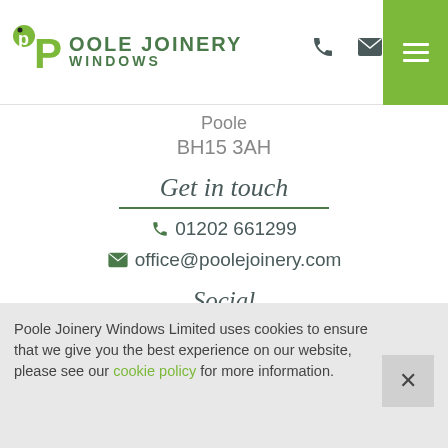[Figure (logo): Poole Joinery Windows logo with stylized green 'p' letters and text 'POOLE JOINERY WINDOWS']
Poole
BH15 3AH
Get in touch
01202 661299
office@poolejoinery.com
Social
[Figure (illustration): Facebook and LinkedIn social media icons]
Poole Joinery Windows Limited uses cookies to ensure that we give you the best experience on our website, please see our cookie policy for more information.